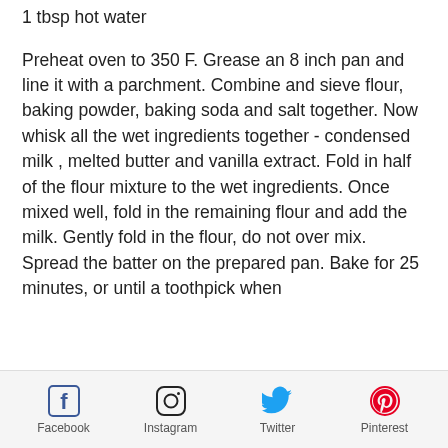1 tbsp hot water
Preheat oven to 350 F. Grease an 8 inch pan and line it with a parchment. Combine and sieve flour, baking powder, baking soda and salt together. Now whisk all the wet ingredients together - condensed milk , melted butter and vanilla extract. Fold in half of the flour mixture to the wet ingredients. Once mixed well, fold in the remaining flour and add the milk. Gently fold in the flour, do not over mix. Spread the batter on the prepared pan. Bake for 25 minutes, or until a toothpick when
Facebook  Instagram  Twitter  Pinterest